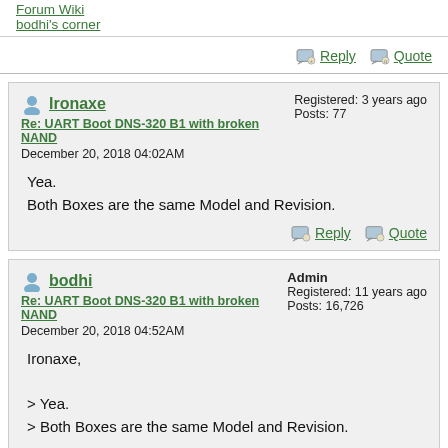Forum Wiki
bodhi's corner
Reply   Quote
Ironaxe
Re: UART Boot DNS-320 B1 with broken NAND
December 20, 2018 04:02AM
Registered: 3 years ago
Posts: 77
Yea.
Both Boxes are the same Model and Revision.
Reply   Quote
bodhi
Admin
Registered: 11 years ago
Posts: 16,726
Re: UART Boot DNS-320 B1 with broken NAND
December 20, 2018 04:52AM
Ironaxe,

> Yea.
> Both Boxes are the same Model and Revision.